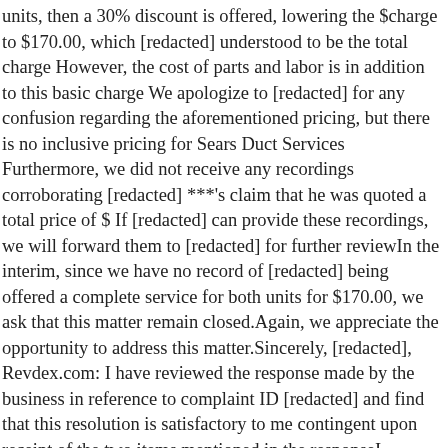units, then a 30% discount is offered, lowering the $charge to $170.00, which [redacted] understood to be the total charge However, the cost of parts and labor is in addition to this basic charge We apologize to [redacted] for any confusion regarding the aforementioned pricing, but there is no inclusive pricing for Sears Duct Services Furthermore, we did not receive any recordings corroborating [redacted] ***'s claim that he was quoted a total price of $ If [redacted] can provide these recordings, we will forward them to [redacted] for further reviewIn the interim, since we have no record of [redacted] being offered a complete service for both units for $170.00, we ask that this matter remain closed.Again, we appreciate the opportunity to address this matter.Sincerely, [redacted], Revdex.com: I have reviewed the response made by the business in reference to complaint ID [redacted] and find that this resolution is satisfactory to me contingent upon receipt of the two items mentioned in the responseI appreciate that Sears heard me and responded so